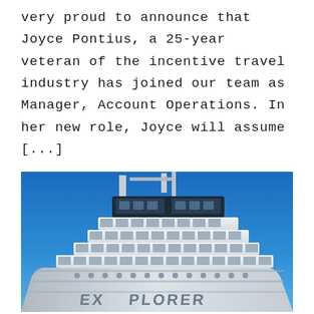very proud to announce that Joyce Pontius, a 25-year veteran of the incentive travel industry has joined our team as Manager, Account Operations. In her new role, Joyce will assume [...]
[Figure (photo): Close-up photograph of a large cruise ship bow against a bright blue sky. The ship is white with multiple decks, windows, and balconies. The name 'EXPLORER' is partially visible on the hull.]